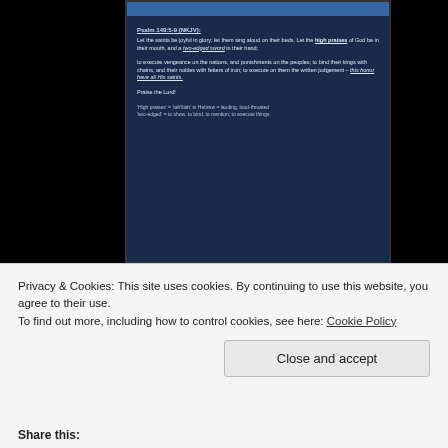[Figure (photo): A photograph of a projected Bible study slide showing Psalm 149:5-9 (NKJV) text on a screen in a dark room. The slide has a blue header bar and displays scripture about saints praising God, high praises, two-edged sword, vengeance on nations, and binding kings with chains.]
Great preaching by my pastor with some live Bible study. Praise makes clear the way for breakthrough–just like how Paul and Silas praised their way out of prison.
Privacy & Cookies: This site uses cookies. By continuing to use this website, you agree to their use. To find out more, including how to control cookies, see here: Cookie Policy
Close and accept
Share this: